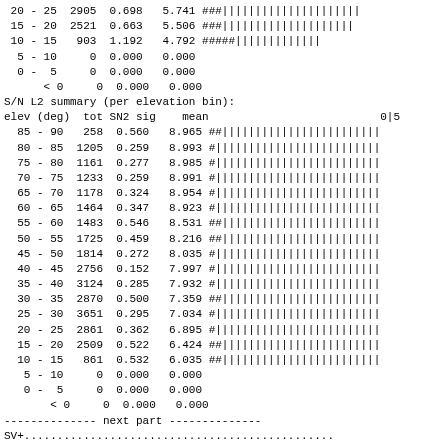| elev (deg) | tot SN2 sig | mean |  |
| --- | --- | --- | --- |
| 20 - 25 | 2905 | 0.698 | 5.741 ###||||||||||||||||| |
| 15 - 20 | 2521 | 0.663 | 5.506 ###|||||||||||||||| |
| 10 - 15 | 903 | 1.192 | 4.792 #####||||||||||||| |
| 5 - 10 | 0 | 0.000 | 0.000 |
| 0 -  5 | 0 | 0.000 | 0.000 |
| < 0 | 0 | 0.000 | 0.000 |
S/N L2 summary (per elevation bin):
| elev (deg) | tot SN2 sig | mean | 0|5 |
| --- | --- | --- | --- |
| 85 - 90 | 258 | 0.560 | 8.965 ##|||||||||||||||||||| |
| 80 - 85 | 1205 | 0.259 | 8.993 #||||||||||||||||||||| |
| 75 - 80 | 1161 | 0.277 | 8.985 #||||||||||||||||||||| |
| 70 - 75 | 1233 | 0.259 | 8.991 #||||||||||||||||||||| |
| 65 - 70 | 1178 | 0.324 | 8.954 #||||||||||||||||||||| |
| 60 - 65 | 1464 | 0.347 | 8.923 #||||||||||||||||||||| |
| 55 - 60 | 1483 | 0.546 | 8.531 ##|||||||||||||||||||| |
| 50 - 55 | 1725 | 0.459 | 8.216 ##|||||||||||||||||||| |
| 45 - 50 | 1814 | 0.272 | 8.035 #||||||||||||||||||||| |
| 40 - 45 | 2756 | 0.152 | 7.997 #||||||||||||||||||||| |
| 35 - 40 | 3124 | 0.285 | 7.932 #||||||||||||||||||||| |
| 30 - 35 | 2870 | 0.500 | 7.359 ##|||||||||||||||||||| |
| 25 - 30 | 3651 | 0.295 | 7.034 #||||||||||||||||||||| |
| 20 - 25 | 2861 | 0.362 | 6.895 #||||||||||||||||||||| |
| 15 - 20 | 2509 | 0.522 | 6.424 ##|||||||||||||||||||| |
| 10 - 15 | 861 | 0.532 | 6.035 ##|||||||||||||||||||| |
| 5 - 10 | 0 | 0.000 | 0.000 |
| 0 -  5 | 0 | 0.000 | 0.000 |
| < 0 | 0 | 0.000 | 0.000 |
------------ next part ------------
SV+...............................................